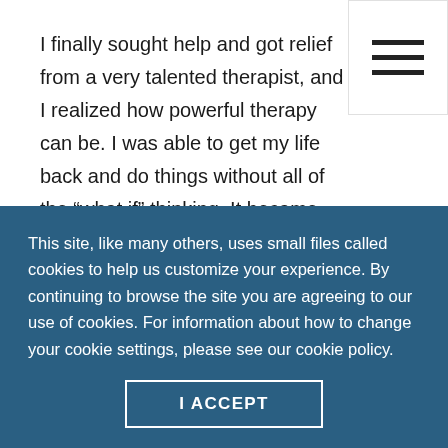I finally sought help and got relief from a very talented therapist, and I realized how powerful therapy can be. I was able to get my life back and do things without all of the “what if” thinking. It became clear to me that a career helping others to get relief from anxiety is what the universe had planned for me.
[Choosing my specialty as a counselor] was an easy decision for me. I know anxiety from the inside. I
This site, like many others, uses small files called cookies to help us customize your experience. By continuing to browse the site you are agreeing to our use of cookies. For information about how to change your cookie settings, please see our cookie policy.
I ACCEPT